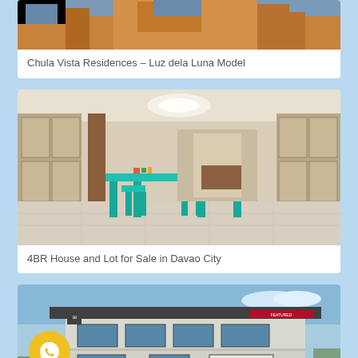[Figure (photo): Partial view of orange building exterior - Chula Vista Residences]
Chula Vista Residences – Luz dela Luna Model
[Figure (photo): Interior of a house showing living/dining area with teal/turquoise tables and chairs, wooden partitions and columns, marble floor]
4BR House and Lot for Sale in Davao City
[Figure (photo): Exterior rendering/photo of a modern two-story house with balconies, partially visible with WhatsApp button overlay]